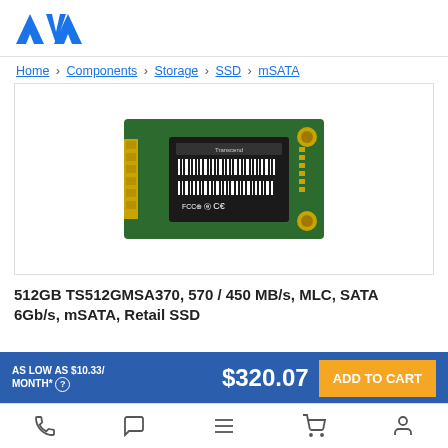[Figure (logo): AVA company logo in blue]
Home › Components › Storage › SSD › mSATA
[Figure (photo): Transcend 512GB mSATA SSD circuit board product photo]
512GB TS512GMSA370, 570 / 450 MB/s, MLC, SATA 6Gb/s, mSATA, Retail SSD
AS LOW AS $10.33/ MONTH*
$320.07
ADD TO CART